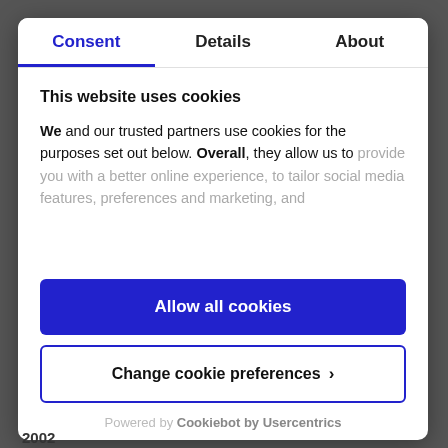Consent | Details | About
This website uses cookies
We and our trusted partners use cookies for the purposes set out below. Overall, they allow us to provide you with a better online experience, to tailor social media features, preferences and marketing, and
Allow all cookies
Change cookie preferences ›
Powered by Cookiebot by Usercentrics
2002